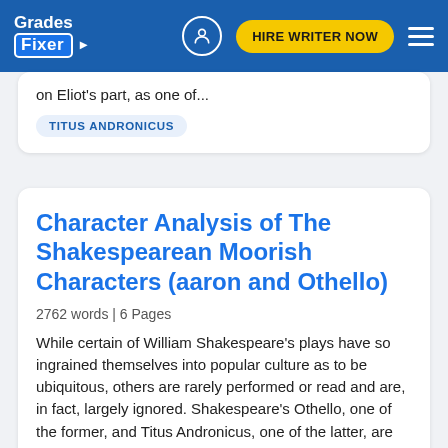Grades Fixer | HIRE WRITER NOW
on Eliot's part, as one of...
TITUS ANDRONICUS
Character Analysis of The Shakespearean Moorish Characters (aaron and Othello)
2762 words | 6 Pages
While certain of William Shakespeare's plays have so ingrained themselves into popular culture as to be ubiquitous, others are rarely performed or read and are, in fact, largely ignored. Shakespeare's Othello, one of the former, and Titus Andronicus, one of the latter, are vastly different...
OTHELLO
TITUS ANDRONICUS